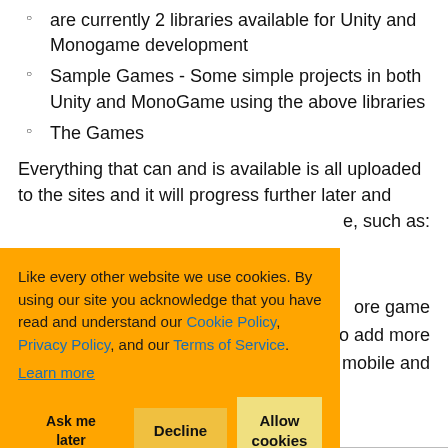are currently 2 libraries available for Unity and Monogame development
Sample Games - Some simple projects in both Unity and MonoGame using the above libraries
The Games
Everything that can and is available is all uploaded to the sites and it will progress further later and
e, such as:
ore game
to add more
for mobile and
Like every other website we use cookies. By using our site you acknowledge that you have read and understand our Cookie Policy, Privacy Policy, and our Terms of Service. Learn more
Ask me later | Decline | Allow cookies